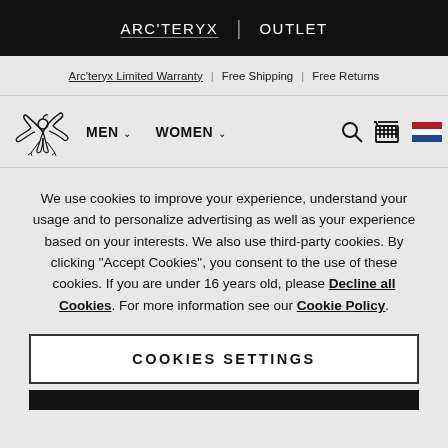ARC'TERYX | OUTLET
Arc'teryx Limited Warranty | Free Shipping | Free Returns
[Figure (logo): Arc'teryx bird logo in black and white]
MEN  WOMEN
We use cookies to improve your experience, understand your usage and to personalize advertising as well as your experience based on your interests. We also use third-party cookies. By clicking "Accept Cookies", you consent to the use of these cookies. If you are under 16 years old, please Decline all Cookies. For more information see our Cookie Policy.
COOKIES SETTINGS